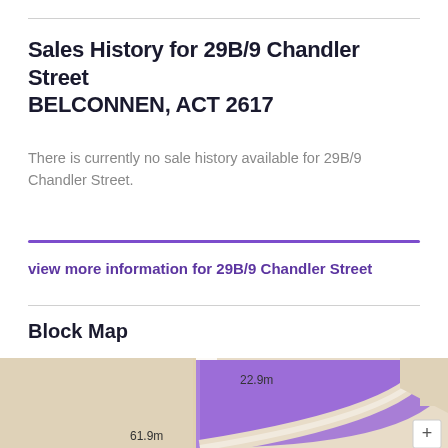Sales History for 29B/9 Chandler Street BELCONNEN, ACT 2617
There is currently no sale history available for 29B/9 Chandler Street.
view more information for 29B/9 Chandler Street
Block Map
[Figure (map): Block map showing the land parcel for 29B/9 Chandler Street, Belconnen ACT. Purple filled plot region visible with dimensions 22.9m and 61.9m labeled. Nearby label reads 'The London 108'.]